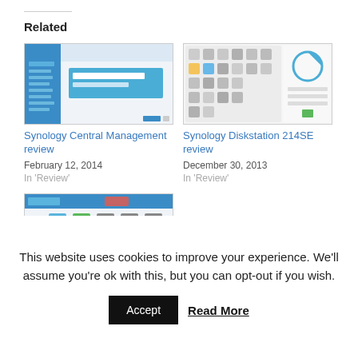Related
[Figure (screenshot): Screenshot of Synology Central Management interface with blue sidebar and setup wizard]
Synology Central Management review
February 12, 2014
In 'Review'
[Figure (screenshot): Screenshot of Synology Diskstation interface showing icon grid and pie chart]
Synology Diskstation 214SE review
December 30, 2013
In 'Review'
[Figure (screenshot): Screenshot of Synology dashboard with graphs and statistics showing 4736]
This website uses cookies to improve your experience. We'll assume you're ok with this, but you can opt-out if you wish.
Accept
Read More